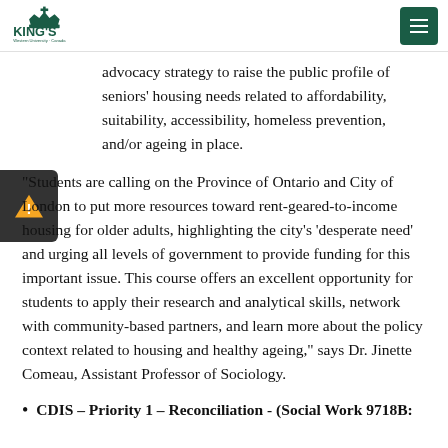King's University College - Western University Canada
advocacy strategy to raise the public profile of seniors' housing needs related to affordability, suitability, accessibility, homeless prevention, and/or ageing in place.
“Students are calling on the Province of Ontario and City of London to put more resources toward rent-geared-to-income housing for older adults, highlighting the city’s ‘desperate need’ and urging all levels of government to provide funding for this important issue. This course offers an excellent opportunity for students to apply their research and analytical skills, network with community-based partners, and learn more about the policy context related to housing and healthy ageing,” says Dr. Jinette Comeau, Assistant Professor of Sociology.
CDIS – Priority 1 – Reconciliation - (Social Work 9718B: